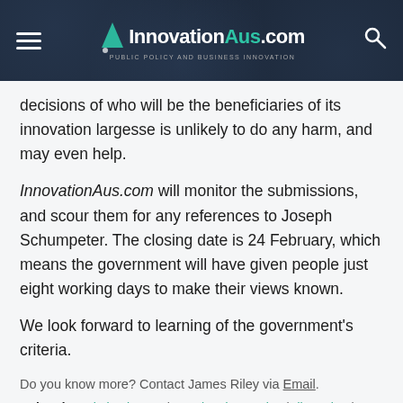InnovationAus.com — PUBLIC POLICY AND BUSINESS INNOVATION
decisions of who will be the beneficiaries of its innovation largesse is unlikely to do any harm, and may even help.
InnovationAus.com will monitor the submissions, and scour them for any references to Joseph Schumpeter. The closing date is 24 February, which means the government will have given people just eight working days to make their views known.
We look forward to learning of the government's criteria.
Do you know more? Contact James Riley via Email.
Related: capital gains tax | creative destruction | disruption |